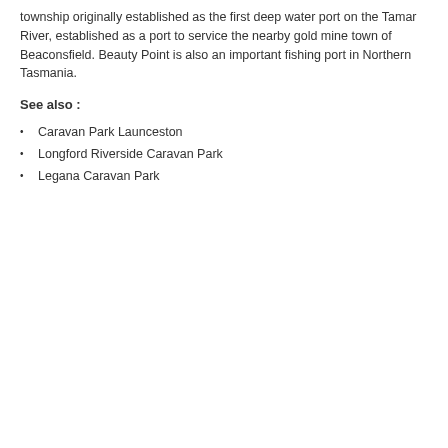township originally established as the first deep water port on the Tamar River, established as a port to service the nearby gold mine town of Beaconsfield. Beauty Point is also an important fishing port in Northern Tasmania.
See also :
Caravan Park Launceston
Longford Riverside Caravan Park
Legana Caravan Park